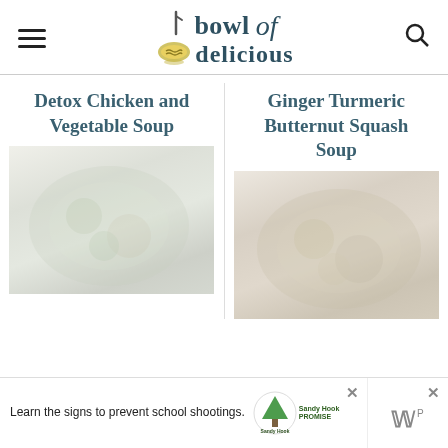bowl of delicious
Detox Chicken and Vegetable Soup
Ginger Turmeric Butternut Squash Soup
[Figure (photo): Photo of Detox Chicken and Vegetable Soup in a bowl]
[Figure (photo): Photo of Ginger Turmeric Butternut Squash Soup in a bowl]
Learn the signs to prevent school shootings. Sandy Hook Promise